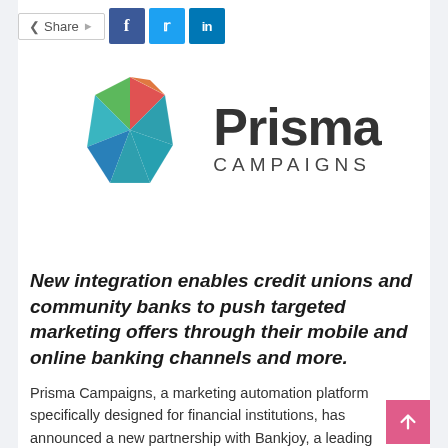Share | f | t | in
[Figure (logo): Prisma Campaigns logo: a colorful geometric polygon shape (green, teal, red, orange facets) next to the text 'Prisma CAMPAIGNS' in dark gray]
New integration enables credit unions and community banks to push targeted marketing offers through their mobile and online banking channels and more.
Prisma Campaigns, a marketing automation platform specifically designed for financial institutions, has announced a new partnership with Bankjoy, a leading end-to-end digital service ecosystem for credit unions and community banks.